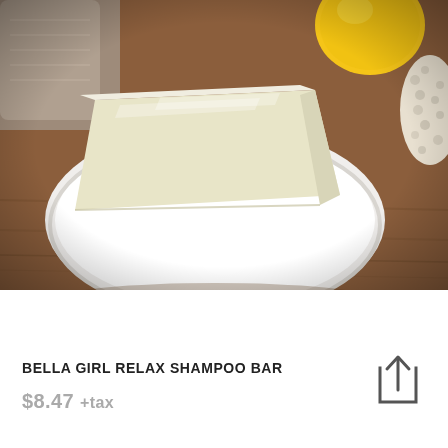[Figure (photo): A bar of pale yellow shampoo soap sitting in a white oval soap dish on a wooden surface. In the background are a folded gray towel, a lemon, and a white loofah sponge.]
BELLA GIRL RELAX SHAMPOO BAR
$8.47 +tax